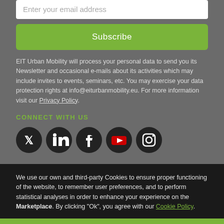Enter your email address
Subscribe
EIT Urban Mobility will process your personal data to send you its Newsletter and occasional e-mails about its activities which may include invites to events, seminars, etc. You may exercise your data protection rights at info@eiturbanmobility.eu. For more information visit our Privacy Policy.
CONNECT WITH US
[Figure (illustration): Social media icons: Twitter, LinkedIn, Facebook, YouTube, Instagram]
We use our own and third-party Cookies to ensure proper functioning of the website, to remember user preferences, and to perform statistical analyses in order to enhance your experience on the Marketplace. By clicking "Ok", you agree with our Cookie Policy.
Start a conversation